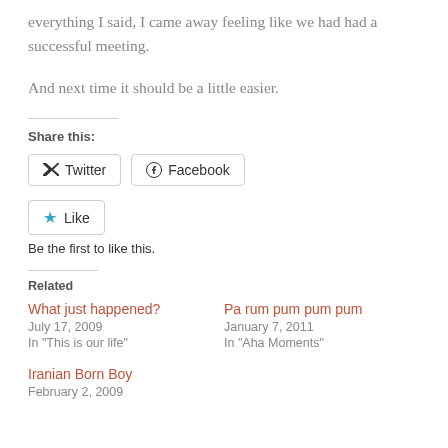everything I said, I came away feeling like we had had a successful meeting.
And next time it should be a little easier.
Share this:
Twitter
Facebook
Like
Be the first to like this.
Related
What just happened?
July 17, 2009
In "This is our life"
Pa rum pum pum pum
January 7, 2011
In "Aha Moments"
Iranian Born Boy
February 2, 2009